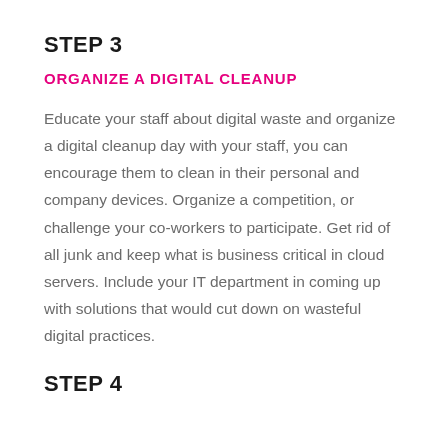STEP 3
ORGANIZE A DIGITAL CLEANUP
Educate your staff about digital waste and organize a digital cleanup day with your staff, you can encourage them to clean in their personal and company devices. Organize a competition, or challenge your co-workers to participate. Get rid of all junk and keep what is business critical in cloud servers. Include your IT department in coming up with solutions that would cut down on wasteful digital practices.
STEP 4